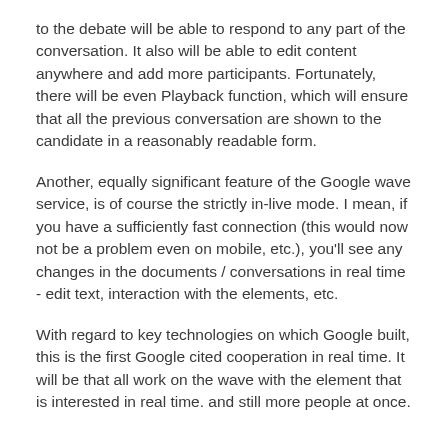to the debate will be able to respond to any part of the conversation. It also will be able to edit content anywhere and add more participants. Fortunately, there will be even Playback function, which will ensure that all the previous conversation are shown to the candidate in a reasonably readable form.
Another, equally significant feature of the Google wave service, is of course the strictly in-live mode. I mean, if you have a sufficiently fast connection (this would now not be a problem even on mobile, etc.), you'll see any changes in the documents / conversations in real time - edit text, interaction with the elements, etc.
With regard to key technologies on which Google built, this is the first Google cited cooperation in real time. It will be that all work on the wave with the element that is interested in real time. and still more people at once.